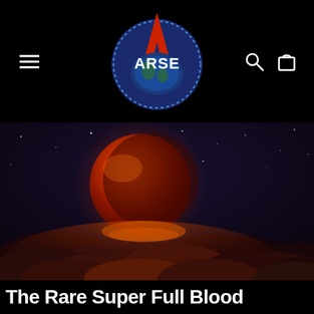ARSE (logo with hamburger menu, search and cart icons)
[Figure (photo): A dramatic blood moon (large reddish-orange full moon) rising above fiery clouds against a dark starry night sky]
The Rare Super Full Blood